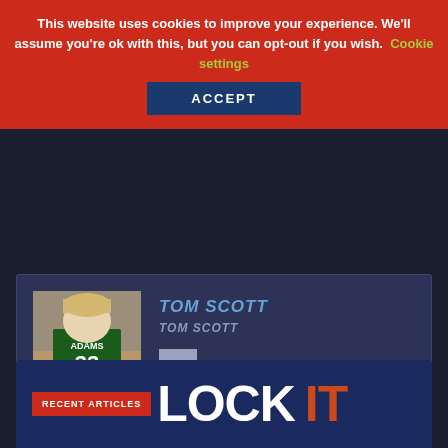This website uses cookies to improve your experience. We'll assume you're ok with this, but you can opt-out if you wish. Cookie settings ACCEPT
[Figure (photo): Young child wearing a green sports jersey with 'ADAMS 33' on the back, sitting on a couch]
TOM SCOTT
TOM SCOTT
OTHER ARTICLES
RECENT ARTICLES
LOCK IT